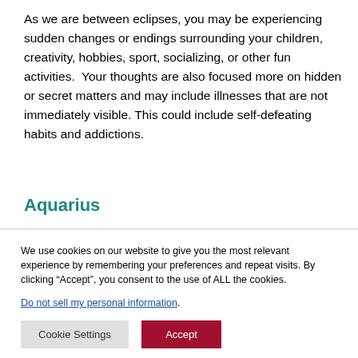As we are between eclipses, you may be experiencing sudden changes or endings surrounding your children, creativity, hobbies, sport, socializing, or other fun activities.  Your thoughts are also focused more on hidden or secret matters and may include illnesses that are not immediately visible. This could include self-defeating habits and addictions.
Aquarius
We use cookies on our website to give you the most relevant experience by remembering your preferences and repeat visits. By clicking “Accept”, you consent to the use of ALL the cookies.
Do not sell my personal information.